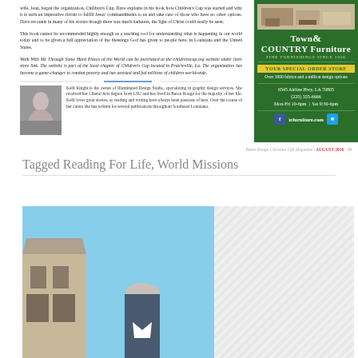wife, Jean, began the organization, Children's Cup. Dave explains in his book how Children's Cup was started and why it is such an imperative circuit to fulfill Jesus' commandments to us and take care of those who have no other options. Dave recounts in many of his stories though there was much darkness, the light of Christ could easily be seen.
This book cannot be recommended highly enough as a teaching tool for understanding what is happening in our world today and to be given a full appreciation of the blessings God has given to people here, in Louisiana and the United States.
Walk With Me Through Some Hard Places of the World can be purchased at the childrenscup.org website under their store link. The website is part of the local chapter of Children's Cup located in Prairieville, La. The organization has become a game-changer to combat poverty and has assisted and fed millions of children world-wide.
[Figure (photo): Author photo of Kelli Knight, black and white headshot]
Kelli Knight is the owner of Illuminated Design Studio, specializing in graphic design services. She received her Liberal Arts degree from LSU and has lived in Baton Rouge for the majority of her life. Kelli loves great stories, so reading and writing have always been passions of hers. Over the course of her career she has written for several publications throughout Southeast Louisiana.
[Figure (advertisement): Town & Country Furniture advertisement - Fine Furnishings Since 1956, Your Special Order Store, Over 3000 fabrics and a million design options, 6545 Airline Hwy, LA 70805, (225) 355-6666, Mon-Fri 10-6pm | Sat 9:30-6pm, tcfurniture.com]
Baton Rouge Christian Life Magazine | AUGUST 2016   19
Tagged Reading For Life, World Missions
[Figure (photo): Photograph of a man with gray hair in front of a building with Mediterranean-style architecture, blue sky background]